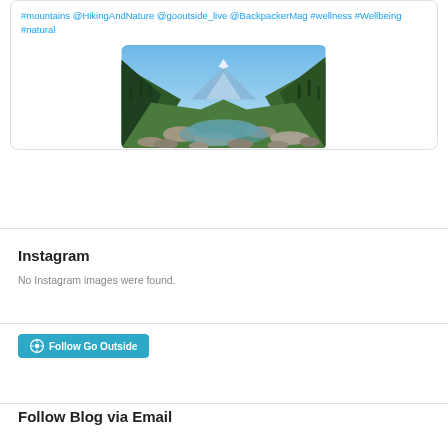#mountains @HikingAndNature @gooutside_live @BackpackerMag #wellness #Wellbeing #natural
[Figure (photo): A mountain valley landscape photo with a rocky river in the foreground, forested mountain slopes on both sides, and a blue sky with snow-capped peaks in the background.]
Instagram
No Instagram images were found.
Follow Go Outside
Follow Blog via Email